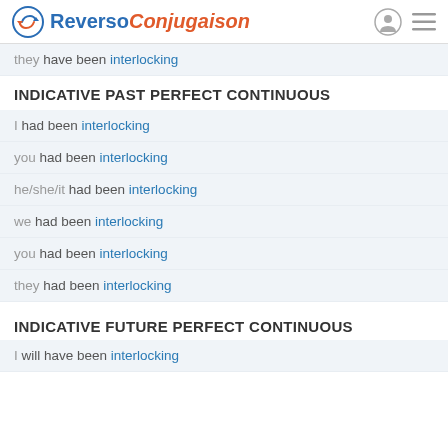Reverso Conjugaison
they have been interlocking
INDICATIVE PAST PERFECT CONTINUOUS
I had been interlocking
you had been interlocking
he/she/it had been interlocking
we had been interlocking
you had been interlocking
they had been interlocking
INDICATIVE FUTURE PERFECT CONTINUOUS
I will have been interlocking